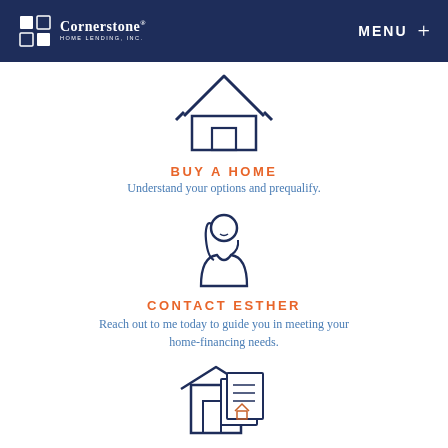Cornerstone Home Lending, Inc. | MENU +
[Figure (illustration): Line drawing icon of a house with a door]
BUY A HOME
Understand your options and prequalify.
[Figure (illustration): Line drawing icon of a person with long hair]
CONTACT ESTHER
Reach out to me today to guide you in meeting your home-financing needs.
[Figure (illustration): Line drawing icon of a house with documents]